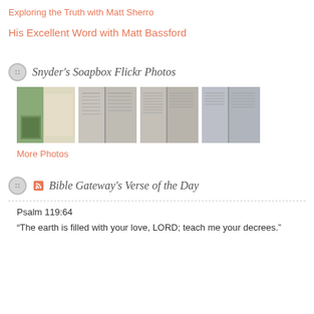Exploring the Truth with Matt Sherro
His Excellent Word with Matt Bassford
Snyder's Soapbox Flickr Photos
[Figure (photo): Four thumbnail photos of open Bible pages]
More Photos
Bible Gateway's Verse of the Day
Psalm 119:64
“The earth is filled with your love, LORD; teach me your decrees.”